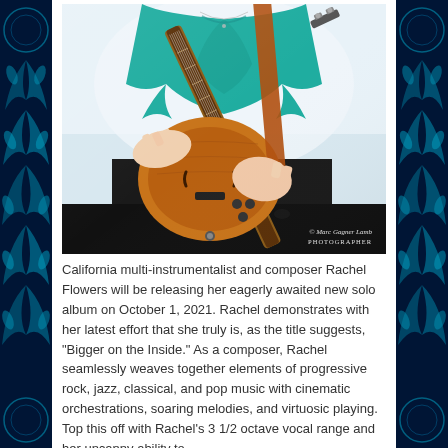[Figure (photo): A woman in a teal top playing a wooden electric guitar, seated, with black pants. Photo watermark reads '© Marc Gagner Lamb PHOTOGRAPHER'.]
California multi-instrumentalist and composer Rachel Flowers will be releasing her eagerly awaited new solo album on October 1, 2021. Rachel demonstrates with her latest effort that she truly is, as the title suggests, "Bigger on the Inside." As a composer, Rachel seamlessly weaves together elements of progressive rock, jazz, classical, and pop music with cinematic orchestrations, soaring melodies, and virtuosic playing. Top this off with Rachel's 3 1/2 octave vocal range and her uncanny ability to